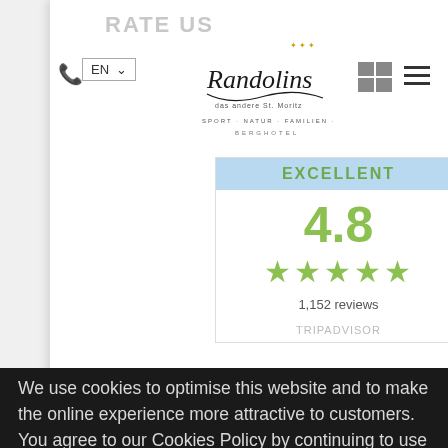RATE US
EN
[Figure (logo): Randolins hotel logo with script text 'Randolins das andere St. Moritz', tagline 'SPORT · NATUR · FAMILIEN · RESORT', and 'BERGHOTEL']
[Figure (infographic): Review widget showing EXCELLENT rating of 4.8 stars (5 stars), 1,152 reviews, from TripAdvisor]
We use cookies to optimise this website and to make the online experience more attractive to customers. You agree to our Cookies Policy by continuing to use the website. Learn more
Got it!